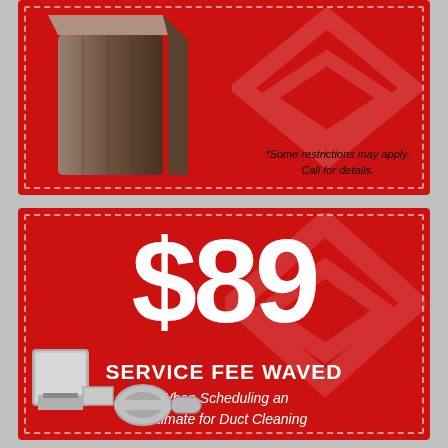[Figure (photo): Red promotional coupon panel showing an HVAC unit on red background with dashed border]
*Some restrictions may apply. Call for details.
[Figure (infographic): Red promotional coupon panel with $89 price, service fee waived offer, and duct cleaning image]
$89
SERVICE FEE WAVED
When Scheduling an Estimate for Duct Cleaning